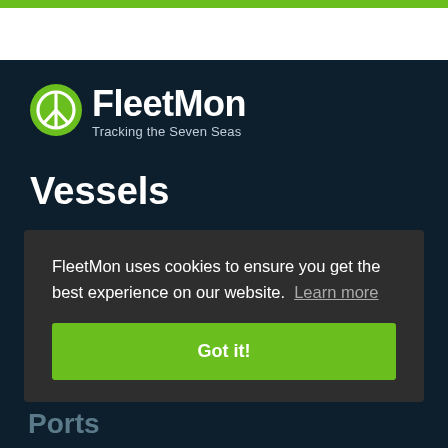[Figure (logo): FleetMon logo with green peace symbol icon and text 'FleetMon' with tagline 'Tracking the Seven Seas']
Vessels
FleetMon uses cookies to ensure you get the best experience on our website. Learn more
Got it!
Ports (partially visible)